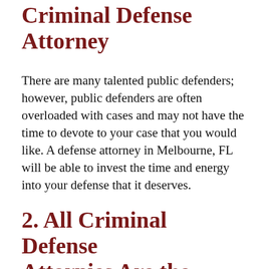Criminal Defense Attorney
There are many talented public defenders; however, public defenders are often overloaded with cases and may not have the time to devote to your case that you would like. A defense attorney in Melbourne, FL will be able to invest the time and energy into your defense that it deserves.
2. All Criminal Defense Attornies Are the Same
No matter what profession you look at, some people in that profession are better at their jobs than others. It is the same with criminal defense attorneys. Skill